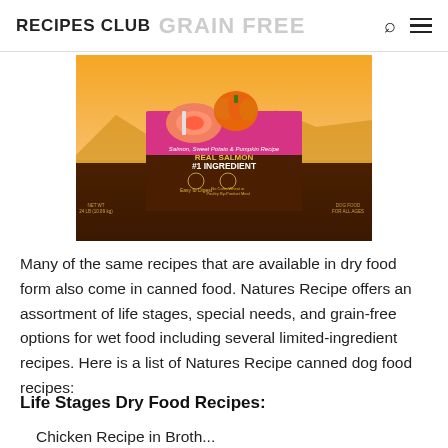RECIPES CLUB  GRAIN FREE
[Figure (photo): Product image of Natures Recipe Salmon, Sweet Potato & Pumpkin Recipe dry dog food bag with orange/sunset background, pumpkin and salmon imagery, text: 'Salmon, Sweet Potato & Pumpkin Recipe', 'REAL SALMON #1 INGREDIENT', 'Easy to Digest', 'No Corn, Wheat or Poultry By-Product Meal', 'NET WT 24 LB (10.89 kg)', 'DOG FOOD FOR ALL AGES']
Many of the same recipes that are available in dry food form also come in canned food. Natures Recipe offers an assortment of life stages, special needs, and grain-free options for wet food including several limited-ingredient recipes. Here is a list of Natures Recipe canned dog food recipes:
Life Stages Dry Food Recipes:
Chicken Recipe in Broth...